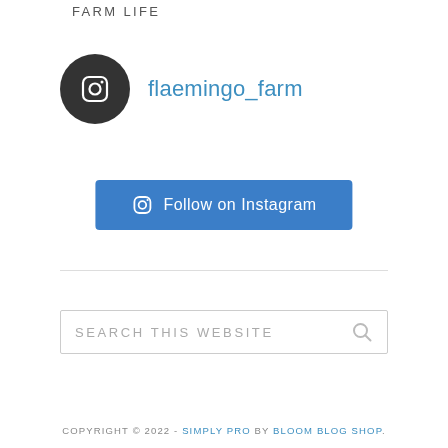FARM LIFE
[Figure (logo): Instagram icon in dark circle with username flaemingo_farm in teal]
flaemingo_farm
Follow on Instagram
SEARCH THIS WEBSITE
COPYRIGHT © 2022 - SIMPLY PRO BY BLOOM BLOG SHOP.